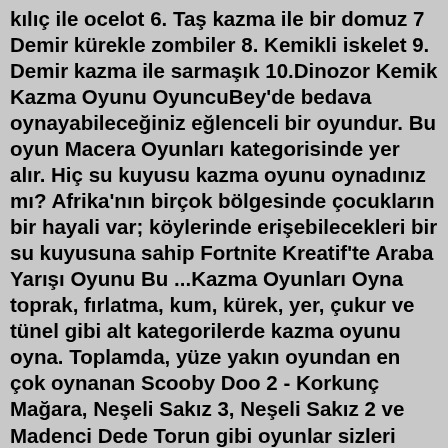kılıç ile ocelot 6. Taş kazma ile bir domuz 7 Demir kürekle zombiler 8. Kemikli iskelet 9. Demir kazma ile sarmaşık 10.Dinozor Kemik Kazma Oyunu OyuncuBey'de bedava oynayabileceğiniz eğlenceli bir oyundur. Bu oyun Macera Oyunları kategorisinde yer alır. Hiç su kuyusu kazma oyunu oynadınız mı? Afrika'nın birçok bölgesinde çocukların bir hayali var; köylerinde erişebilecekleri bir su kuyusuna sahip Fortnite Kreatif'te Araba Yarışı Oyunu Bu ...Kazma Oyunları Oyna toprak, fırlatma, kum, kürek, yer, çukur ve tünel gibi alt kategorilerde kazma oyunu oyna. Toplamda, yüze yakın oyundan en çok oynanan Scooby Doo 2 - Korkunç Mağara, Neşeli Sakız 3, Neşeli Sakız 2 ve Madenci Dede Torun gibi oyunlar sizleri bekliyor. About Press Copyright Contact us Creators Advertise Developers Terms Privacy Policy & Safety How YouTube works Test new features Press Copyright Contact us Creators ...Bulmaca Toprak Kazma Oyunları Oyna Oyunlar: Kum Topları Oyunu Süper Kaçış Ustaları Oyunu Kum Topları 2 Oyunu Dinozor Fosilleri Oyunu Dökülen Toplar Oyunu